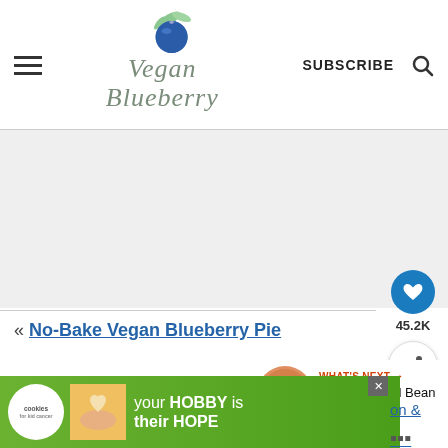Vegan Blueberry — SUBSCRIBE
[Figure (other): Gray advertisement placeholder area]
[Figure (logo): Heart save button with count 45.2K and share button]
« No-Bake Vegan Blueberry Pie
WHAT'S NEXT → Vegan Refried Bean Dip
[Figure (other): Green advertisement banner: cookies for kid cancer — your HOBBY is their HOPE]